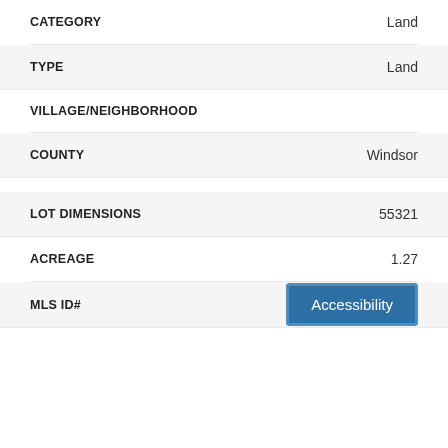| Field | Value |
| --- | --- |
| CATEGORY | Land |
| TYPE | Land |
| VILLAGE/NEIGHBORHOOD |  |
| COUNTY | Windsor |
| LOT DIMENSIONS | 55321 |
| ACREAGE | 1.27 |
| MLS ID# | Accessibility |